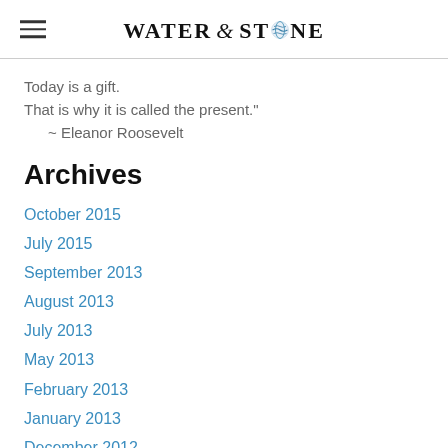WATER & STONE
Today is a gift.
That is why it is called the present."
~ Eleanor Roosevelt
Archives
October 2015
July 2015
September 2013
August 2013
July 2013
May 2013
February 2013
January 2013
December 2012
November 2012
August 2012
July 2012